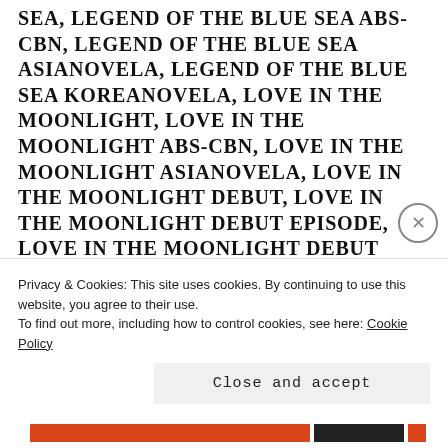SEA, LEGEND OF THE BLUE SEA ABS-CBN, LEGEND OF THE BLUE SEA ASIANOVELA, LEGEND OF THE BLUE SEA KOREANOVELA, LOVE IN THE MOONLIGHT, LOVE IN THE MOONLIGHT ABS-CBN, LOVE IN THE MOONLIGHT ASIANOVELA, LOVE IN THE MOONLIGHT DEBUT, LOVE IN THE MOONLIGHT DEBUT EPISODE, LOVE IN THE MOONLIGHT DEBUT WEEK, LOVE IN THE MOONLIGHT FIRST EPISODE, LOVE IN THE MOONLIGHT FIRST WEEK, LOVE IN THE MOONLIGHT KOREAN DRAMA, LOVE IN THE MOONLIGHT KOREANOVELA, LOVE IN THE MOONLIGHT MAIDEN EPISODE, LOVE IN THE MOONLIGHT MAIDEN WEEK, LOVE IN THE MOONLIGHT
Privacy & Cookies: This site uses cookies. By continuing to use this website, you agree to their use.
To find out more, including how to control cookies, see here: Cookie Policy
Close and accept